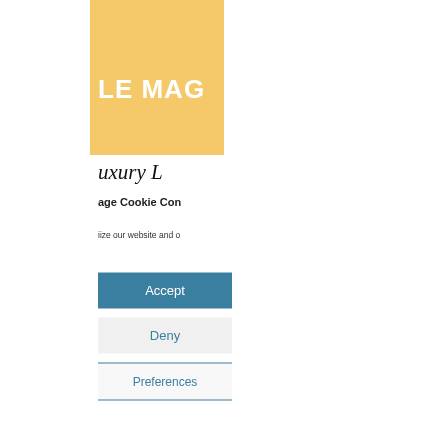[Figure (screenshot): Partial view of a website with an orange/yellow banner showing partial logo text 'LE MAG' in white bold letters, a partial serif italic heading below, and a cookie consent dialog with Accept, Deny, and Preferences buttons]
age Cookie Con
iize our website and o
Accept
Deny
Preferences